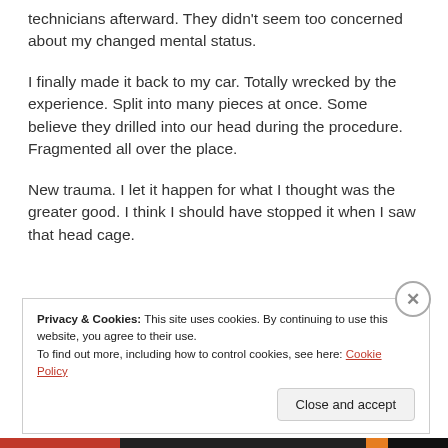technicians afterward. They didn't seem too concerned about my changed mental status.
I finally made it back to my car. Totally wrecked by the experience. Split into many pieces at once. Some believe they drilled into our head during the procedure. Fragmented all over the place.
New trauma. I let it happen for what I thought was the greater good. I think I should have stopped it when I saw that head cage.
Privacy & Cookies: This site uses cookies. By continuing to use this website, you agree to their use.
To find out more, including how to control cookies, see here: Cookie Policy
Close and accept